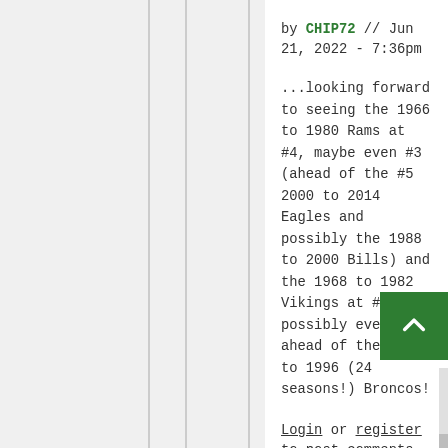by CHIP72 // Jun 21, 2022 - 7:36pm
...looking forward to seeing the 1966 to 1980 Rams at #4, maybe even #3 (ahead of the #5 2000 to 2014 Eagles and possibly the 1988 to 2000 Bills) and the 1968 to 1982 Vikings at #2, possibly even #1 ahead of the 1973 to 1996 (24 seasons!) Broncos!
Login or register to post comments